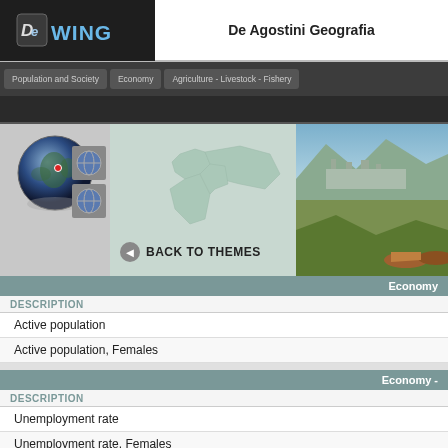De Agostini Geografia
[Figure (screenshot): Navigation bar with tabs: Population and Society, Economy, Agriculture - Livestock - Fishery]
[Figure (map): World map centered on Europe/Asia with red marker, globe icons on left, landscape photos on right, BACK TO THEMES button]
Economy
DESCRIPTION
Active population
Active population, Females
Economy -
DESCRIPTION
Unemployment rate
Unemployment rate, Females
Economy
DESCRIPTION